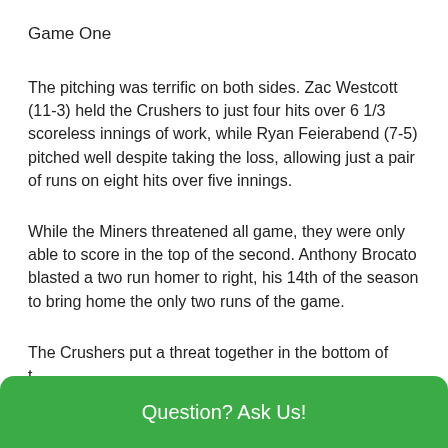Game One
The pitching was terrific on both sides. Zac Westcott (11-3) held the Crushers to just four hits over 6 1/3 scoreless innings of work, while Ryan Feierabend (7-5) pitched well despite taking the loss, allowing just a pair of runs on eight hits over five innings.
While the Miners threatened all game, they were only able to score in the top of the second. Anthony Brocato blasted a two run homer to right, his 14th of the season to bring home the only two runs of the game.
The Crushers put a threat together in the bottom of t a
[Figure (other): Green button overlay reading 'Question? Ask Us!']